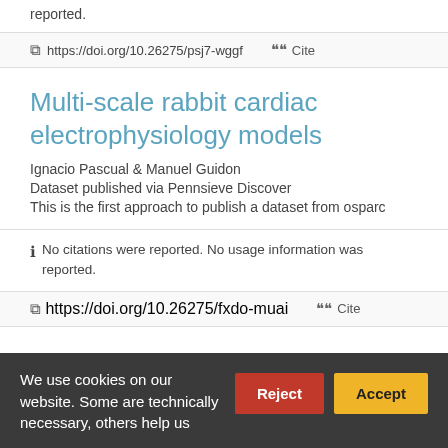reported.
🔗 https://doi.org/10.26275/psj7-wggf   ❝❝ Cite
Multi-scale rabbit cardiac electrophysiology models
Ignacio Pascual & Manuel Guidon
Dataset published via Pennsieve Discover
This is the first approach to publish a dataset from osparc
ℹ No citations were reported. No usage information was reported.
🔗 https://doi.org/10.26275/fxdo-muai   ❝❝ Cite
We use cookies on our website. Some are technically necessary, others help us improve your experience.